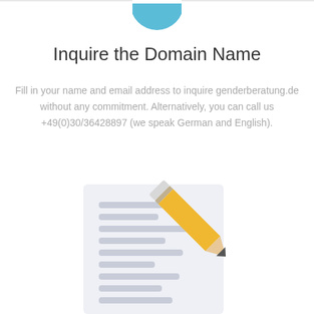[Figure (illustration): Blue semicircle icon at top center, partially cropped by the top border]
Inquire the Domain Name
Fill in your name and email address to inquire genderberatung.de without any commitment. Alternatively, you can call us +49(0)30/36428897 (we speak German and English).
[Figure (illustration): Illustration of a document/paper with lines on it and a pencil writing on it, in pale blue-gray and yellow tones]